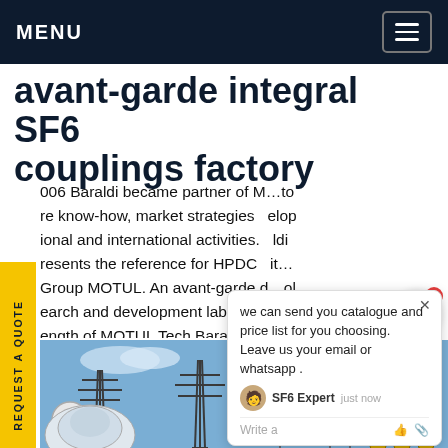MENU
avant-garde integral SF6 couplings factory
006 Baraldi became partner of M... to know-how, market strategies... elop ional and international activities. ...ldi resents the reference for HPDC ...it... Group MOTUL. An avant-garde c...ol, earch and development labo...t... ngth of MOTUL Tech Baraldi.Get price
[Figure (photo): Electrical substation with transmission towers, insulators, and high-voltage equipment under a blue sky.]
we can send you catalogue and price list for you choosing. Leave us your email or whatsapp .
SF6 Expert  just now
Write a